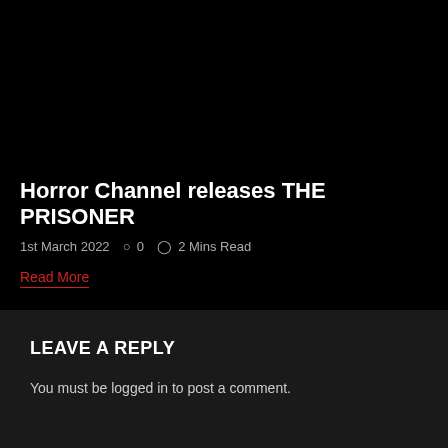Horror Channel releases THE PRISONER
1st March 2022  ○ 0  ⊙ 2 Mins Read
Read More
LEAVE A REPLY
You must be logged in to post a comment.